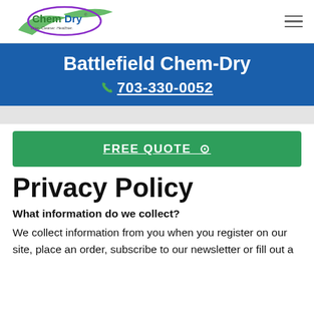[Figure (logo): Chem-Dry logo with green swoosh and oval purple/green border, tagline 'Drier. Cleaner. Healthier.']
Battlefield Chem-Dry
703-330-0052
FREE QUOTE ⊕
Privacy Policy
What information do we collect?
We collect information from you when you register on our site, place an order, subscribe to our newsletter or fill out a